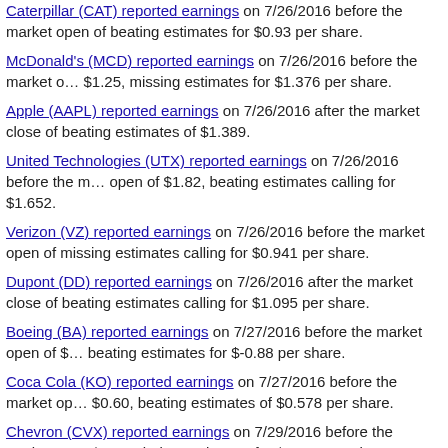Caterpillar (CAT) reported earnings on 7/26/2016 before the market open beating estimates for $0.93 per share.
McDonald's (MCD) reported earnings on 7/26/2016 before the market open of $1.25, missing estimates for $1.376 per share.
Apple (AAPL) reported earnings on 7/26/2016 after the market close of beating estimates of $1.389.
United Technologies (UTX) reported earnings on 7/26/2016 before the market open of $1.82, beating estimates calling for $1.652.
Verizon (VZ) reported earnings on 7/26/2016 before the market open of missing estimates calling for $0.941 per share.
Dupont (DD) reported earnings on 7/26/2016 after the market close of beating estimates calling for $1.095 per share.
Boeing (BA) reported earnings on 7/27/2016 before the market open of beating estimates for $-0.88 per share.
Coca Cola (KO) reported earnings on 7/27/2016 before the market open of $0.60, beating estimates of $0.578 per share.
Chevron (CVX) reported earnings on 7/29/2016 before the market open of $-0.78, below estimates for $0.312 per share.
Exxon Mobil (XOM) reported earnings on 7/29/2016 before the market open of $0.41, below estimates for $0.638 per share.